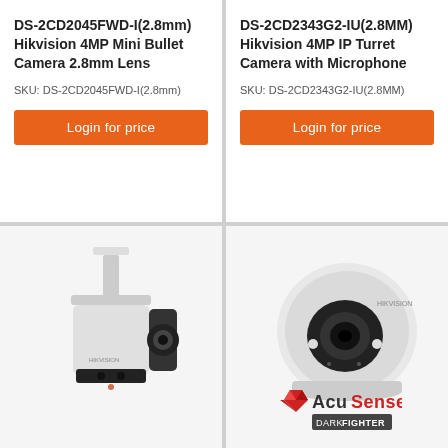DS-2CD2045FWD-I(2.8mm) Hikvision 4MP Mini Bullet Camera 2.8mm Lens
SKU: DS-2CD2045FWD-I(2.8mm)
Login for price
DS-2CD2343G2-IU(2.8MM) Hikvision 4MP IP Turret Camera with Microphone
SKU: DS-2CD2343G2-IU(2.8MM)
Login for price
[Figure (photo): Hikvision mini bullet camera white with ceiling mount bracket]
[Figure (photo): Hikvision 4MP IP Turret Camera dome style with AcuSense DarkFighter logo]